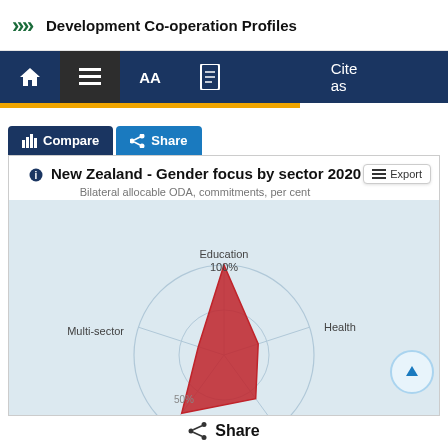Development Co-operation Profiles
[Figure (screenshot): Navigation bar with home, menu, AA, document, and Cite as buttons on dark blue background]
[Figure (radar-chart): Radar/spider chart showing bilateral allocable ODA commitments per cent by sector. Sectors visible include Education (100%), Multi-sector, Health, Econ (50%), and Population (partially visible). Red filled area shows values. Circular gridlines at 50% and 100%.]
Share